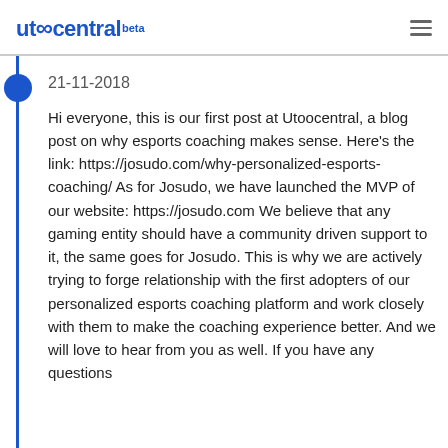utoocentral beta
21-11-2018
Hi everyone, this is our first post at Utoocentral, a blog post on why esports coaching makes sense. Here's the link: https://josudo.com/why-personalized-esports-coaching/ As for Josudo, we have launched the MVP of our website: https://josudo.com We believe that any gaming entity should have a community driven support to it, the same goes for Josudo. This is why we are actively trying to forge relationship with the first adopters of our personalized esports coaching platform and work closely with them to make the coaching experience better. And we will love to hear from you as well. If you have any questions